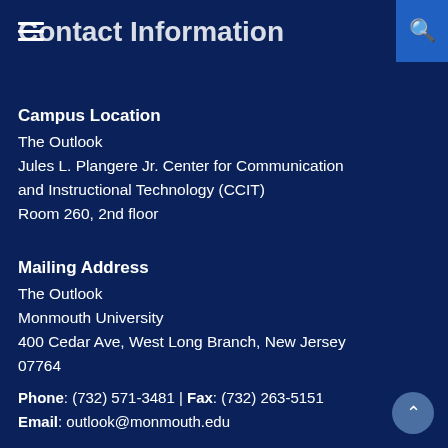Contact Information
Campus Location
The Outlook
Jules L. Plangere Jr. Center for Communication and Instructional Technology (CCIT)
Room 260, 2nd floor
Mailing Address
The Outlook
Monmouth University
400 Cedar Ave, West Long Branch, New Jersey 07764
Phone: (732) 571-3481 | Fax: (732) 263-5151
Email: outlook@monmouth.edu